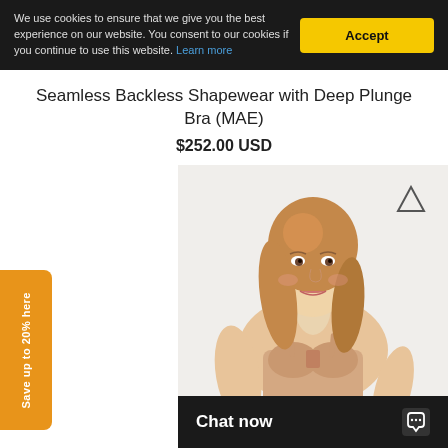We use cookies to ensure that we give you the best experience on our website. You consent to our cookies if you continue to use this website. Learn more
Accept
Seamless Backless Shapewear with Deep Plunge Bra (MAE)
$252.00 USD
[Figure (photo): A blonde woman wearing a nude seamless backless shapewear bra with brand logo mark in upper right corner]
Save up to 20% here
Chat now